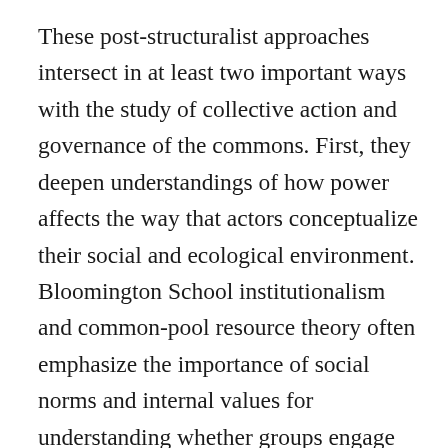These post-structuralist approaches intersect in at least two important ways with the study of collective action and governance of the commons. First, they deepen understandings of how power affects the way that actors conceptualize their social and ecological environment. Bloomington School institutionalism and common-pool resource theory often emphasize the importance of social norms and internal values for understanding whether groups engage in collective action (Ostrom 1990, 2005). Post-structural power constructs provide a methodological approach to studying how these social norms and internal values emerge and change. A second and related way that attention to post-structural power constructs can contribute to scholarship on commons governance is